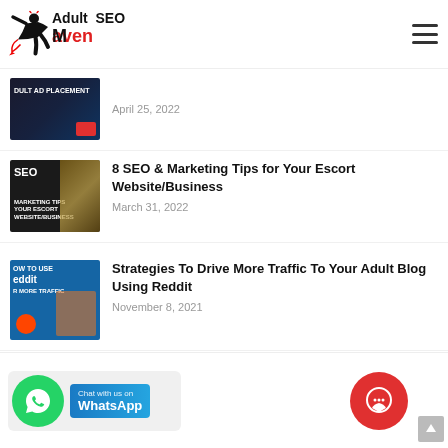[Figure (logo): Adult SEO Maven logo with silhouette figure]
[Figure (photo): Adult Ad Placement thumbnail - dark background with text]
April 25, 2022
[Figure (photo): SEO Marketing Tips thumbnail with dark background and SEO text]
8 SEO & Marketing Tips for Your Escort Website/Business
March 31, 2022
[Figure (photo): How to use Reddit for more traffic thumbnail]
Strategies To Drive More Traffic To Your Adult Blog Using Reddit
November 8, 2021
[Figure (infographic): WhatsApp chat widget and red chat button at bottom]
Chat with us on WhatsApp